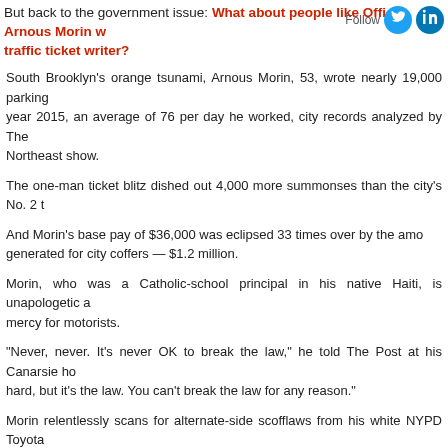But back to the government issue: What about people like Officer Arnous Morin w... traffic ticket writer?
[Figure (other): Follow button with Twitter and LinkedIn social media icons]
South Brooklyn’s orange tsunami, Arnous Morin, 53, wrote nearly 19,000 parking tickets in year 2015, an average of 76 per day he worked, city records analyzed by The... Northeast show.
The one-man ticket blitz dished out 4,000 more summonses than the city’s No. 2 t...
And Morin’s base pay of $36,000 was eclipsed 33 times over by the amo... generated for city coffers — $1.2 million.
Morin, who was a Catholic-school principal in his native Haiti, is unapologetic a... mercy for motorists.
“Never, never. It’s never OK to break the law,” he told The Post at his Canarsie ho... hard, but it’s the law. You can’t break the law for any reason.”
Morin relentlessly scans for alternate-side scofflaws from his white NYPD Toyota ... percent of the 18,953 violations he wrote were for drivers not moving their ca... cleaning hours.
......
A friend suggested he apply to be a traffic agent. He passed the exam in 2009.
Morin joined a foot-patrol unit in Brooklyn South. His first year was so grueling tha... had to soak his swollen feet after a shift. He vowed to work hard enough to get p...